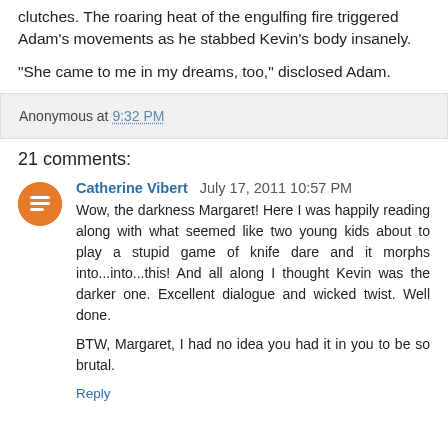clutches. The roaring heat of the engulfing fire triggered Adam's movements as he stabbed Kevin's body insanely.
“She came to me in my dreams, too,” disclosed Adam.
Anonymous at 9:32 PM
21 comments:
Catherine Vibert  July 17, 2011 10:57 PM
Wow, the darkness Margaret! Here I was happily reading along with what seemed like two young kids about to play a stupid game of knife dare and it morphs into...into...this! And all along I thought Kevin was the darker one. Excellent dialogue and wicked twist. Well done.

BTW, Margaret, I had no idea you had it in you to be so brutal.
Reply